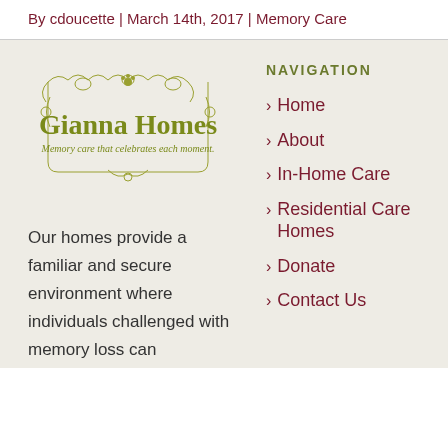By cdoucette | March 14th, 2017 | Memory Care
[Figure (logo): Gianna Homes logo with ornate decorative border, olive green text reading 'Gianna Homes' and tagline 'Memory care that celebrates each moment.']
NAVIGATION
Home
About
In-Home Care
Residential Care Homes
Donate
Contact Us
Our homes provide a familiar and secure environment where individuals challenged with memory loss can